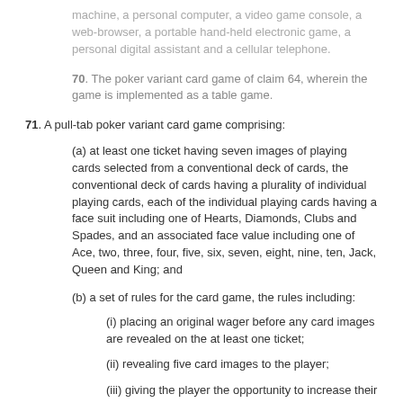machine, a personal computer, a video game console, a web-browser, a portable hand-held electronic game, a personal digital assistant and a cellular telephone.
70. The poker variant card game of claim 64, wherein the game is implemented as a table game.
71. A pull-tab poker variant card game comprising:
(a) at least one ticket having seven images of playing cards selected from a conventional deck of cards, the conventional deck of cards having a plurality of individual playing cards, each of the individual playing cards having a face suit including one of Hearts, Diamonds, Clubs and Spades, and an associated face value including one of Ace, two, three, four, five, six, seven, eight, nine, ten, Jack, Queen and King; and
(b) a set of rules for the card game, the rules including:
(i) placing an original wager before any card images are revealed on the at least one ticket;
(ii) revealing five card images to the player;
(iii) giving the player the opportunity to increase their wager